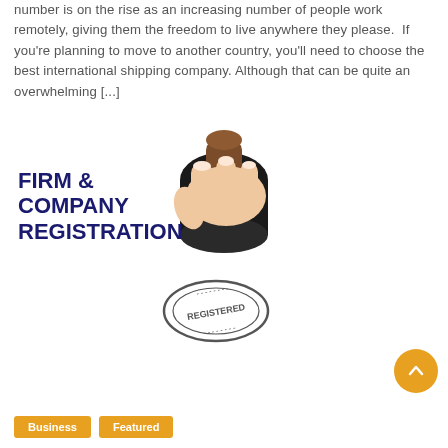number is on the rise as an increasing number of people work remotely, giving them the freedom to live anywhere they please.  If you're planning to move to another country, you'll need to choose the best international shipping company. Although that can be quite an overwhelming [...]
[Figure (illustration): Illustration showing bold dark blue text 'FIRM & COMPANY REGISTRATION' on the left, and a hand holding a rubber stamp with a 'REGISTERED' stamp impression below it on the right.]
Business
Featured